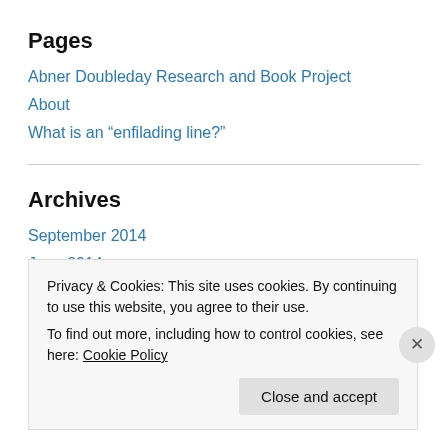Pages
Abner Doubleday Research and Book Project
About
What is an “enfilading line?”
Archives
September 2014
June 2014
May 2014
April 2014
Privacy & Cookies: This site uses cookies. By continuing to use this website, you agree to their use.
To find out more, including how to control cookies, see here: Cookie Policy
Close and accept